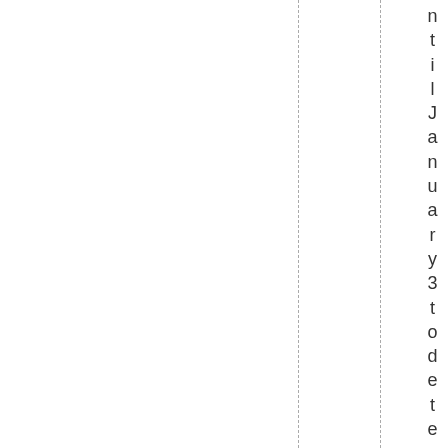ntil January 3 to determine" t